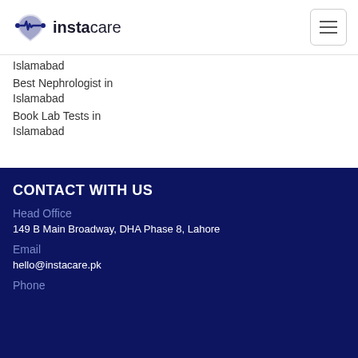instacare
Islamabad
Best Nephrologist in Islamabad
Book Lab Tests in Islamabad
CONTACT WITH US
Head Office
149 B Main Broadway, DHA Phase 8, Lahore
Email
hello@instacare.pk
Phone